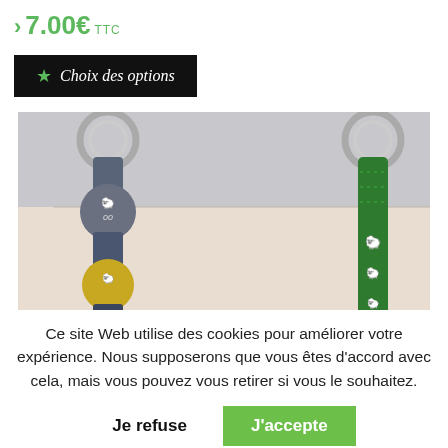> 7.00€ TTC
★ Choix des options
[Figure (photo): Two keychains with decorative fabric straps and metal rings hanging against a light beige/white wall background. Left keychain has grey, yellow and teal circular patches with black cartoon sheep/Mouton logos. Right keychain is green fabric with similar black cartoon character logos. Both have silver metal D-rings at top.]
Ce site Web utilise des cookies pour améliorer votre expérience. Nous supposerons que vous êtes d'accord avec cela, mais vous pouvez vous retirer si vous le souhaitez.
Je refuse
J'accepte